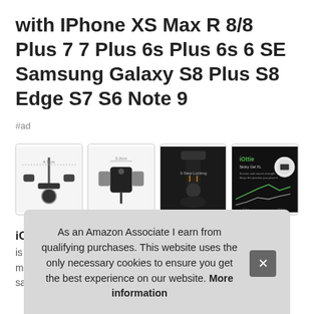with IPhone XS Max R 8/8 Plus 7 7 Plus 6s Plus 6s 6 SE Samsung Galaxy S8 Plus S8 Edge S7 S6 Note 9
#ad
[Figure (photo): Four product images of a phone car mount holder showing different angles and dimensions]
iOtt  width  is 3.  max  sam
As an Amazon Associate I earn from qualifying purchases. This website uses the only necessary cookies to ensure you get the best experience on our website. More information